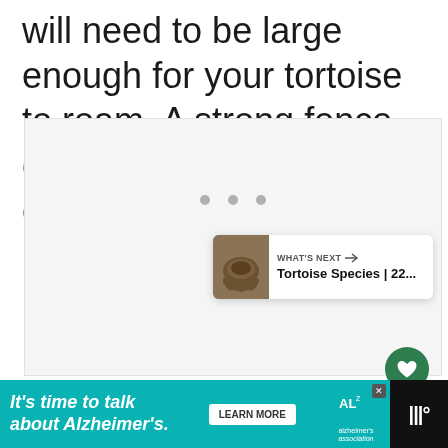will need to be large enough for your tortoise to roam. A strong fence or wall will be needed to corral your tortoise.
[Figure (photo): Image placeholder area with navigation dots, heart/like button showing 569, and share button. A 'What's Next' card showing Tortoise Species | 22... with a tortoise thumbnail.]
[Figure (screenshot): Advertisement banner: 'It's time to talk about Alzheimer's.' with a LEARN MORE button, Alzheimer's Association logo, and close button. III° logo on the right.]